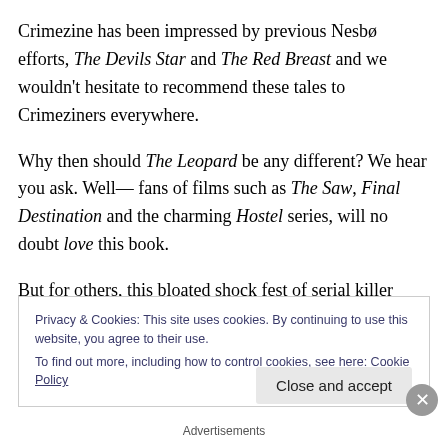Crimezine has been impressed by previous Nesbø efforts, The Devils Star and The Red Breast and we wouldn't hesitate to recommend these tales to Crimeziners everywhere.
Why then should The Leopard be any different? We hear you ask. Well— fans of films such as The Saw, Final Destination and the charming Hostel series, will no doubt love this book.
But for others, this bloated shock fest of serial killer torture
Privacy & Cookies: This site uses cookies. By continuing to use this website, you agree to their use.
To find out more, including how to control cookies, see here: Cookie Policy
Close and accept
Advertisements